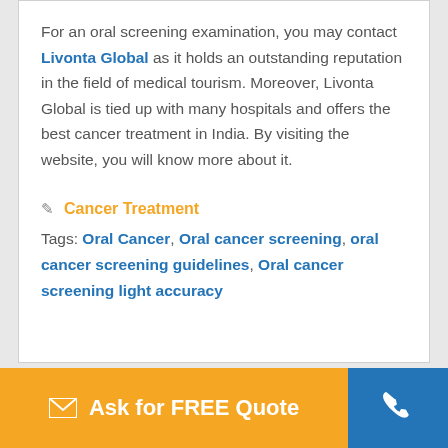For an oral screening examination, you may contact Livonta Global as it holds an outstanding reputation in the field of medical tourism. Moreover, Livonta Global is tied up with many hospitals and offers the best cancer treatment in India. By visiting the website, you will know more about it.
Cancer Treatment
Tags: Oral Cancer, Oral cancer screening, oral cancer screening guidelines, Oral cancer screening light accuracy
Ask for FREE Quote